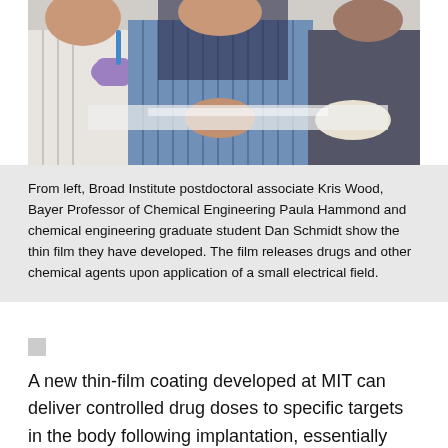[Figure (photo): Photo of three researchers seated at a table: from left, a person wearing purple gloves holding something, a person in a blue striped shirt with hands clasped, and a person in dark clothing with gloved hands clasped, showing a thin film they developed.]
From left, Broad Institute postdoctoral associate Kris Wood, Bayer Professor of Chemical Engineering Paula Hammond and chemical engineering graduate student Dan Schmidt show the thin film they have developed. The film releases drugs and other chemical agents upon application of a small electrical field.
A new thin-film coating developed at MIT can deliver controlled drug doses to specific targets in the body following implantation, essentially serving as a "micro pharmacy."